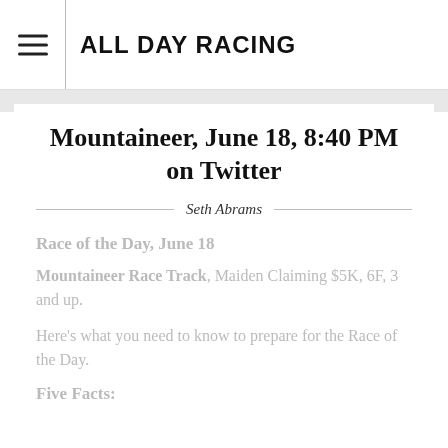ALL DAY RACING
Mountaineer, June 18, 8:40 PM on Twitter
Seth Abrams
Race of the Day, June 18
Mountaineer Race Track, Maiden Claiming $5K, 6F, 3 and up.
Here's what you need to know to prepare for the Race of the Day.
Five Facts: